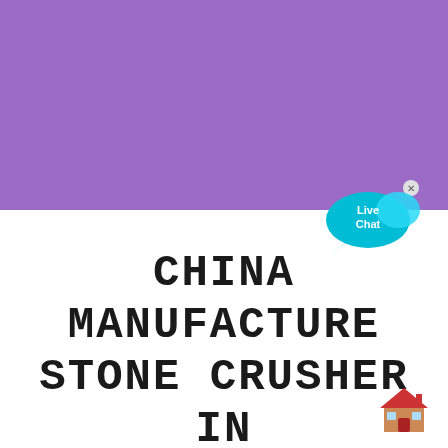[Figure (illustration): Purple rectangular banner/background block occupying the top half of the page]
[Figure (illustration): Live Chat speech bubble widget in cyan/blue with 'Live Chat' text and an X close button]
CHINA MANUFACTURE STONE CRUSHER IN DUBAI
[Figure (illustration): Small red and brown house/building emoji icon in bottom-right corner]